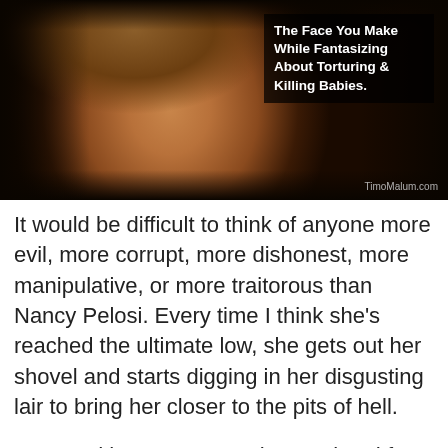[Figure (photo): Close-up photo of a woman (Nancy Pelosi) with brown hair, dark background. Overlaid text in upper right reads: 'The Face You Make While Fantasizing About Torturing & Killing Babies.' Watermark at bottom right: 'TimoMalum.com']
It would be difficult to think of anyone more evil, more corrupt, more dishonest, more manipulative, or more traitorous than Nancy Pelosi. Every time I think she's reached the ultimate low, she gets out her shovel and starts digging in her disgusting lair to bring her closer to the pits of hell.
May God have mercy on her soul and free her of the demons that possess her.